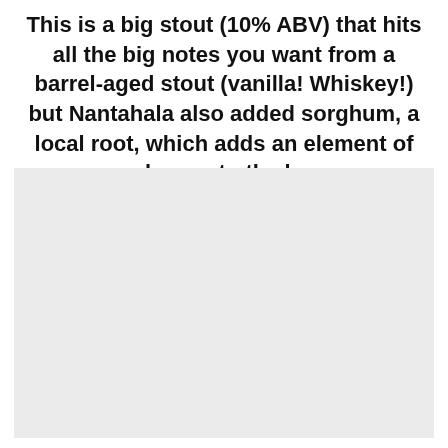This is a big stout (10% ABV) that hits all the big notes you want from a barrel-aged stout (vanilla! Whiskey!) but Nantahala also added sorghum, a local root, which adds an element of molasses to the beer.
[Figure (photo): A light gray rectangular image placeholder occupying the lower portion of the page.]